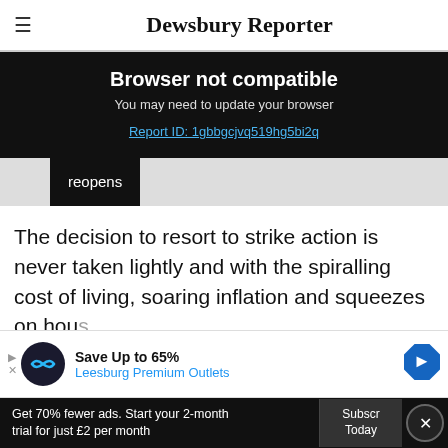Dewsbury Reporter
Browser not compatible
You may need to update your browser
Report ID: 1gbbgcjvq519hg5bi2q
reopens
The decision to resort to strike action is never taken lightly and with the spiralling cost of living, soaring inflation and squeezes on households, it is understandable that workers want to protect their wages and
Save Up to 65%
Leesburg Premium Outlets
Get 70% fewer ads. Start your 2-month trial for just £2 per month
Subscribe Today